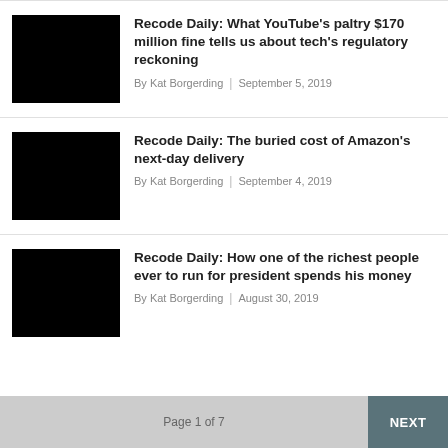[Figure (photo): Black thumbnail image for article 1]
Recode Daily: What YouTube's paltry $170 million fine tells us about tech's regulatory reckoning
By Kat Borgerding | September 5, 2019
[Figure (photo): Black thumbnail image for article 2]
Recode Daily: The buried cost of Amazon's next-day delivery
By Kat Borgerding | September 4, 2019
[Figure (photo): Black thumbnail image for article 3]
Recode Daily: How one of the richest people ever to run for president spends his money
By Kat Borgerding | August 30, 2019
Page 1 of 7   NEXT